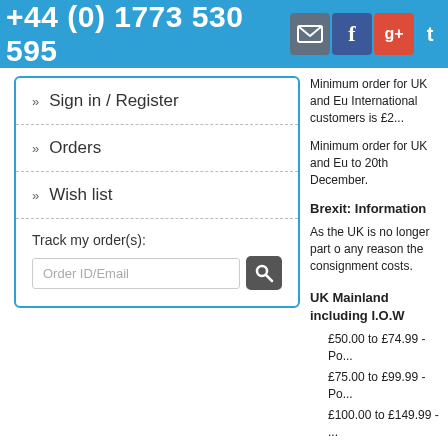+44 (0) 1773 530 595
Sign in / Register
Orders
Wish list
Track my order(s):
Order ID/Email
Minimum order for UK and European International customers is £2...
Minimum order for UK and Eu... to 20th December.
Brexit: Information
As the UK is no longer part o... any reason the consignment costs.
UK Mainland including I.O.W
£50.00 to £74.99 - Post...
£75.00 to £99.99 - Post...
£100.00 to £149.99 - P...
£150.00 to £249.99 - P...
£250.00 & over - Post...
Scottish Highlands, Isle of ...
£18.00 - Postage &...